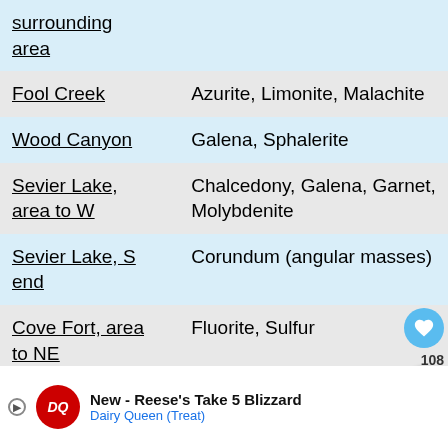| Location | Minerals |
| --- | --- |
| surrounding area |  |
| Fool Creek | Azurite, Limonite, Malachite |
| Wood Canyon | Galena, Sphalerite |
| Sevier Lake, area to W | Chalcedony, Galena, Garnet, Molybdenite |
| Sevier Lake, S end | Corundum (angular masses) |
| Cove Fort, area to NE | Fluorite, Sulfur |
| Dog Valley | Chalcedony, Fluorite |